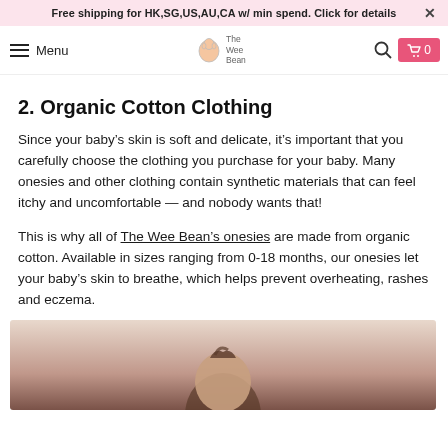Free shipping for HK,SG,US,AU,CA w/ min spend. Click for details
Menu | The Wee Bean
2. Organic Cotton Clothing
Since your baby’s skin is soft and delicate, it’s important that you carefully choose the clothing you purchase for your baby. Many onesies and other clothing contain synthetic materials that can feel itchy and uncomfortable — and nobody wants that!
This is why all of The Wee Bean’s onesies are made from organic cotton. Available in sizes ranging from 0-18 months, our onesies let your baby’s skin to breathe, which helps prevent overheating, rashes and eczema.
[Figure (photo): Photo of a baby, partially visible at the bottom of the page]